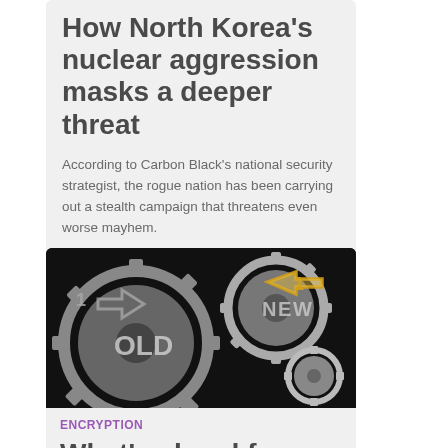How North Korea's nuclear aggression masks a deeper threat
According to Carbon Black's national security strategist, the rogue nation has been carrying out a stealth campaign that threatens even worse mayhem.
[Figure (photo): Close-up photograph of interlocking metal gears with arrows and text reading OLD and NEW, symbolizing change or transition in encryption/technology context.]
ENCRYPTION
What's ahead for